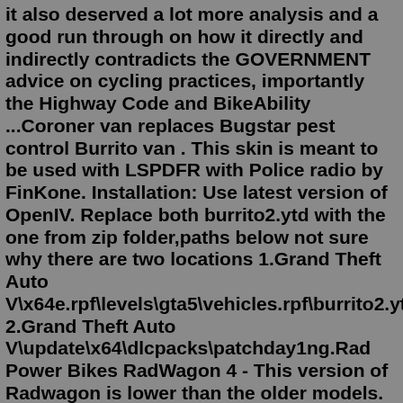it also deserved a lot more analysis and a good run through on how it directly and indirectly contradicts the GOVERNMENT advice on cycling practices, importantly the Highway Code and BikeAbility ...Coroner van replaces Bugstar pest control Burrito van . This skin is meant to be used with LSPDFR with Police radio by FinKone. Installation: Use latest version of OpenIV. Replace both burrito2.ytd with the one from zip folder,paths below not sure why there are two locations 1.Grand Theft Auto V\x64e.rpf\levels\gta5\vehicles.rpf\burrito2.ytd 2.Grand Theft Auto V\update\x64\dlcpacks\patchday1ng.Rad Power Bikes RadWagon 4 - This version of Radwagon is lower than the older models. Also, it aids in maneuvering along with small, fat tires made by its parent company Rad Power Bikes, alongside Vee Tire Co. ... Driving in rough terrains feels safe. It also contains a 500w motor with smart control, which reduces assistance with adjustments ...May 13, 2021 · The RadWagon controller can be replaced in the unlikely